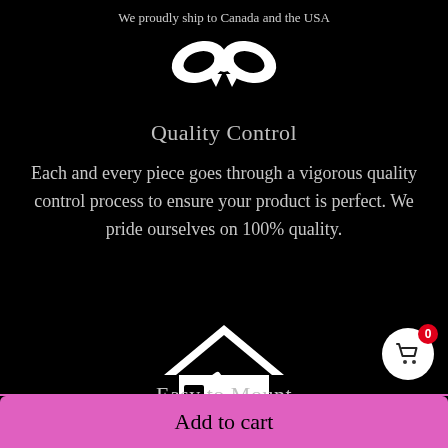We proudly ship to Canada and the USA
[Figure (illustration): White bow/ribbon icon on black background]
Quality Control
Each and every piece goes through a vigorous quality control process to ensure your product is perfect. We pride ourselves on 100% quality.
[Figure (illustration): White house with hammer/wrench icon on black background]
Easy to Mount
[Figure (illustration): Shopping cart button with badge showing 0]
Add to cart